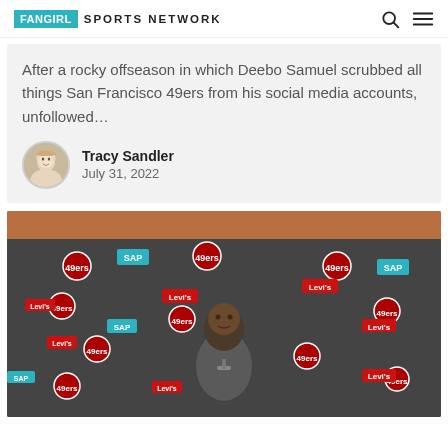FANGIRL SPORTS NETWORK
After a rocky offseason in which Deebo Samuel scrubbed all things San Francisco 49ers from his social media accounts, unfollowed...
Tracy Sandler
July 31, 2022
[Figure (photo): Man speaking at a San Francisco 49ers press conference in front of a branded backdrop with 49ers logos, Levi's logos, and SAP logos]